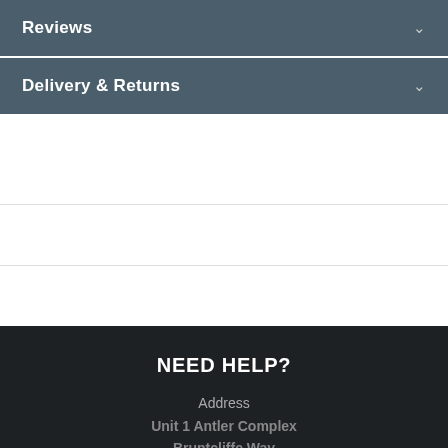Reviews
Delivery & Returns
NEED HELP?
Address
Unit 1 Antler Complex
Bruntcliffe Way